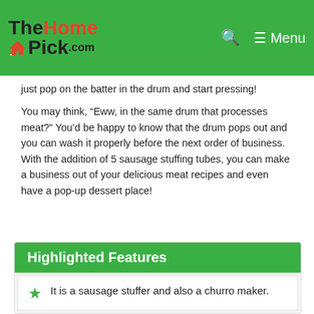TheHomePick.com
just pop on the batter in the drum and start pressing!
You may think, “Eww, in the same drum that processes meat?” You’d be happy to know that the drum pops out and you can wash it properly before the next order of business. With the addition of 5 sausage stuffing tubes, you can make a business out of your delicious meat recipes and even have a pop-up dessert place!
Highlighted Features
It is a sausage stuffer and also a churro maker.